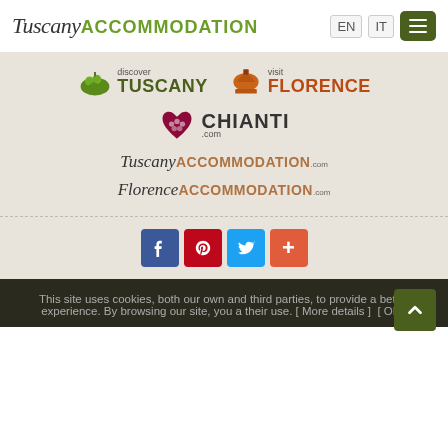Tuscany ACCOMMODATION | EN | IT | menu
[Figure (logo): discover TUSCANY logo with green grape/leaf icon]
[Figure (logo): visit FLORENCE logo with terracotta dome icon]
[Figure (logo): CHIANTI.com logo with dark red grape cluster icon]
[Figure (logo): TuscanyACCOMMODATION.com text logo]
[Figure (logo): FlorenceACCOMMODATION.com text logo]
[Figure (infographic): Social share buttons: Facebook, Pinterest, Twitter, Google+]
This site uses cookies, both our own and third parties, to provide a better experience. By browsing our site, you a their use. [ More details ] [ OK ]